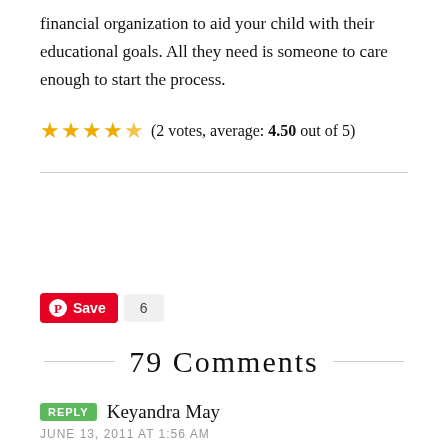financial organization to aid your child with their educational goals. All they need is someone to care enough to start the process.
(2 votes, average: 4.50 out of 5)
[Figure (other): Pinterest Save button with count of 6]
79 Comments
REPLY Keyandra May
JUNE 13, 2011 AT 1:56 AM
Hi, my name is Keyandra May. I was wondering if you know about any scholarships that are still open to apply for. The ones I have applied for I